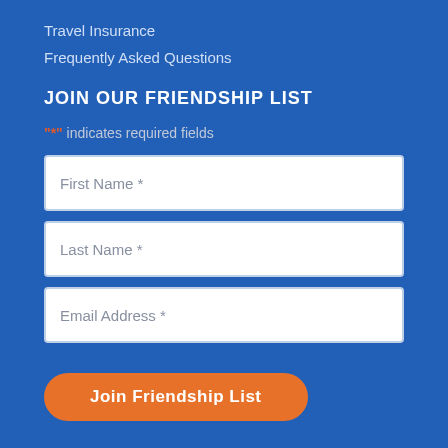Travel Insurance
Frequently Asked Questions
JOIN OUR FRIENDSHIP LIST
"*" indicates required fields
First Name *
Last Name *
Email Address *
Join Friendship List